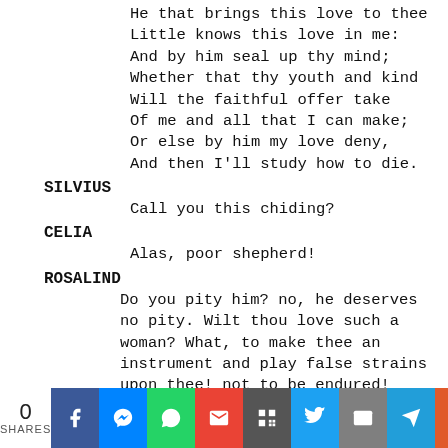He that brings this love to thee
Little knows this love in me:
And by him seal up thy mind;
Whether that thy youth and kind
Will the faithful offer take
Of me and all that I can make;
Or else by him my love deny,
And then I'll study how to die.
SILVIUS
Call you this chiding?
CELIA
Alas, poor shepherd!
ROSALIND
Do you pity him? no, he deserves no pity. Wilt thou love such a woman? What, to make thee an instrument and play false strains upon thee! not to be endured! Well, go your way to her, for I see love hath made thee a tame snake, and say this to her: that if she love me, I charge her to love...